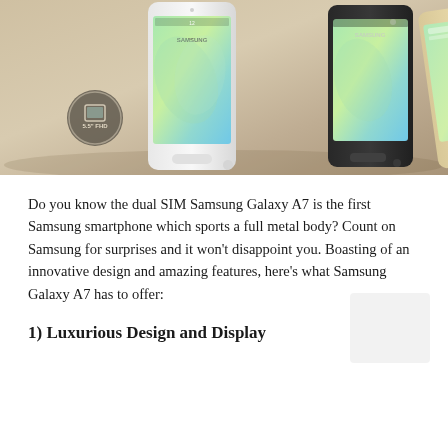[Figure (photo): Samsung Galaxy A7 promotional photo showing three smartphones (white, black, and gold/champagne colors) arranged together against a gold/beige background. A circular badge in the lower left reads '5.5" FHD'.]
Do you know the dual SIM Samsung Galaxy A7 is the first Samsung smartphone which sports a full metal body? Count on Samsung for surprises and it won't disappoint you. Boasting of an innovative design and amazing features, here's what Samsung Galaxy A7 has to offer:
1) Luxurious Design and Display